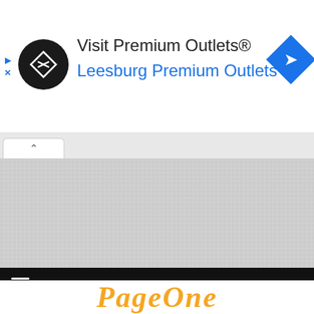[Figure (screenshot): Advertisement banner for Premium Outlets with black circular logo with arrow icons, text 'Visit Premium Outlets®' in dark and 'Leesburg Premium Outlets' in blue, and a blue diamond navigation arrow icon on the right.]
[Figure (screenshot): Gray map/content area with a browser tab indicator (caret up) on the left, representing a collapsed or loading map view.]
[Figure (screenshot): Black navigation bar at the bottom with a white hamburger menu icon on the left.]
PageOne